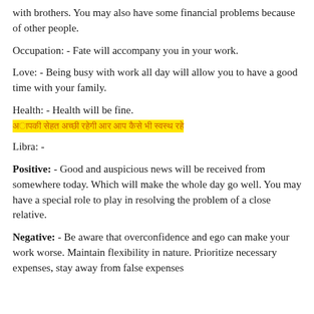with brothers. You may also have some financial problems because of other people.
Occupation: - Fate will accompany you in your work.
Love: - Being busy with work all day will allow you to have a good time with your family.
Health: - Health will be fine.
[highlighted Hindi/Devanagari text]
Libra: -
Positive: - Good and auspicious news will be received from somewhere today. Which will make the whole day go well. You may have a special role to play in resolving the problem of a close relative.
Negative: - Be aware that overconfidence and ego can make your work worse. Maintain flexibility in nature. Prioritize necessary expenses, stay away from false expenses